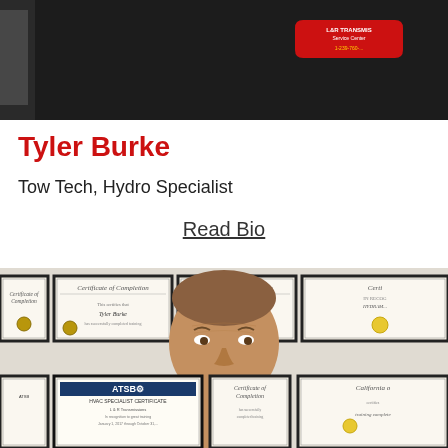[Figure (photo): Person wearing black shirt with a red L&R Transmissions company logo/badge patch on the chest]
Tyler Burke
Tow Tech, Hydro Specialist
Read Bio
[Figure (photo): Man standing in front of a wall covered with framed certificates of completion, including ATSB certificates]